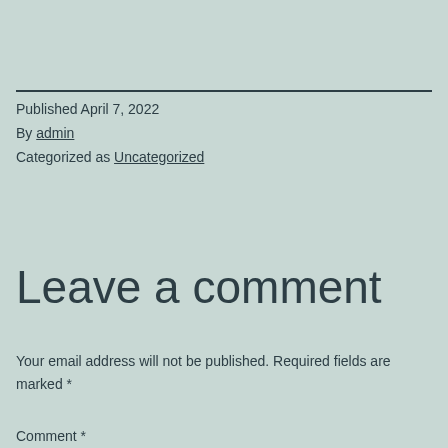Published April 7, 2022
By admin
Categorized as Uncategorized
Leave a comment
Your email address will not be published. Required fields are marked *
Comment *